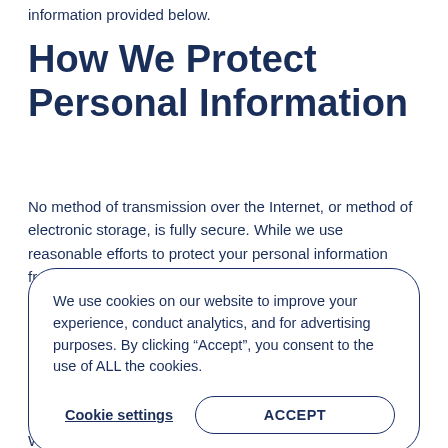information provided below.
How We Protect Personal Information
No method of transmission over the Internet, or method of electronic storage, is fully secure. While we use reasonable efforts to protect your personal information fro... gu... e ev... br... el... do...
We use cookies on our website to improve your experience, conduct analytics, and for advertising purposes. By clicking “Accept”, you consent to the use of ALL the cookies.
Cookie settings    ACCEPT
Some... nt.
When you do you will be prompted to create a password